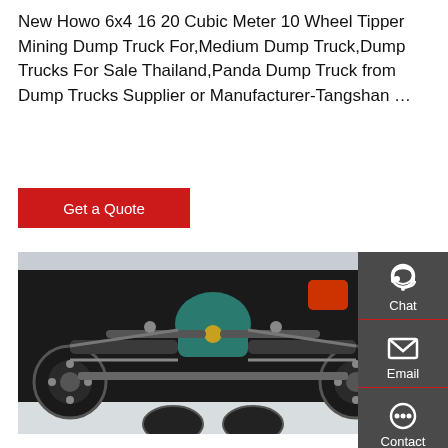New Howo 6x4 16 20 Cubic Meter 10 Wheel Tipper Mining Dump Truck For,Medium Dump Truck,Dump Trucks For Sale Thailand,Panda Dump Truck from Dump Trucks Supplier or Manufacturer-Tangshan …
Get a Quote
[Figure (photo): Undercarriage view of a Howo dump truck showing rear axles, suspension, drive shafts, and teal-painted differential housing, photographed from below against a light background.]
Chat
Email
Contact
Top